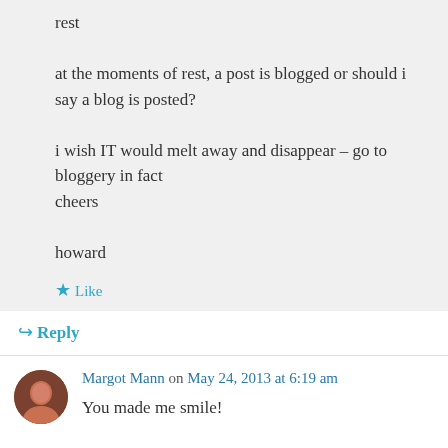rest

at the moments of rest, a post is blogged or should i say a blog is posted?

i wish IT would melt away and disappear – go to bloggery in fact
cheers

howard
Like
Reply
Margot Mann on May 24, 2013 at 6:19 am
You made me smile!